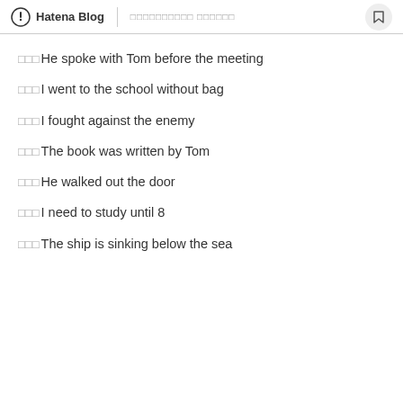Hatena Blog | □□□□□□□□□□ □□□□□□
□□□He spoke with Tom before the meeting
□□□I went to the school without bag
□□□I fought against the enemy
□□□The book was written by Tom
□□□He walked out the door
□□□I need to study until 8
□□□The ship is sinking below the sea